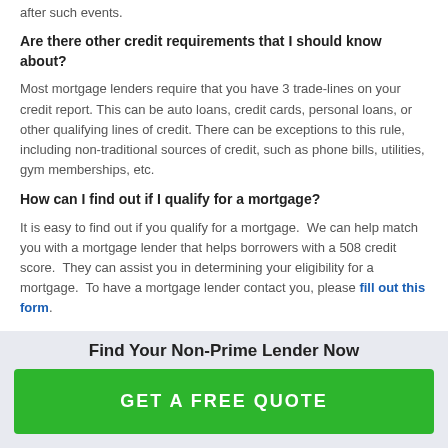after such events.
Are there other credit requirements that I should know about?
Most mortgage lenders require that you have 3 trade-lines on your credit report. This can be auto loans, credit cards, personal loans, or other qualifying lines of credit. There can be exceptions to this rule, including non-traditional sources of credit, such as phone bills, utilities, gym memberships, etc.
How can I find out if I qualify for a mortgage?
It is easy to find out if you qualify for a mortgage.  We can help match you with a mortgage lender that helps borrowers with a 508 credit score.  They can assist you in determining your eligibility for a mortgage.  To have a mortgage lender contact you, please fill out this form.
Find Your Non-Prime Lender Now
GET A FREE QUOTE